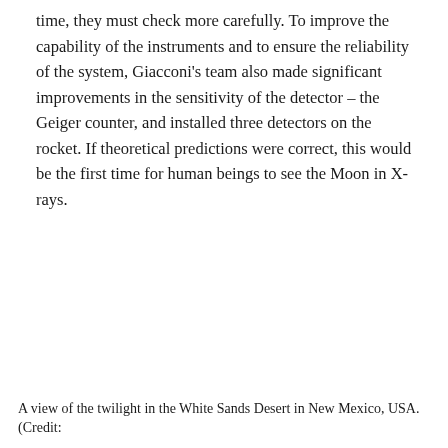time, they must check more carefully. To improve the capability of the instruments and to ensure the reliability of the system, Giacconi's team also made significant improvements in the sensitivity of the detector – the Geiger counter, and installed three detectors on the rocket. If theoretical predictions were correct, this would be the first time for human beings to see the Moon in X-rays.
A view of the twilight in the White Sands Desert in New Mexico, USA. (Credit: